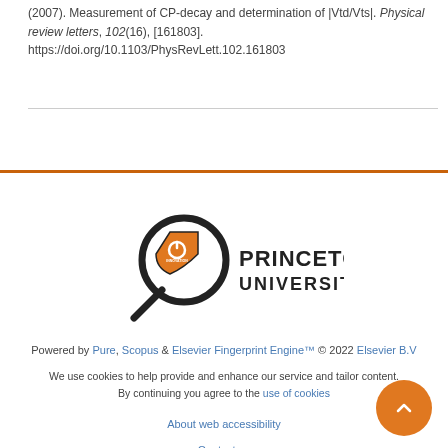(2007). Measurement of CP-decay and determination of |Vtd/Vts|. Physical review letters, 102(16), [161803]. https://doi.org/10.1103/PhysRevLett.102.161803
[Figure (logo): Princeton University logo with magnifying glass and shield icon, black and orange, with text PRINCETON UNIVERSITY]
Powered by Pure, Scopus & Elsevier Fingerprint Engine™ © 2022 Elsevier B.V
We use cookies to help provide and enhance our service and tailor content. By continuing you agree to the use of cookies
About web accessibility
Contact us